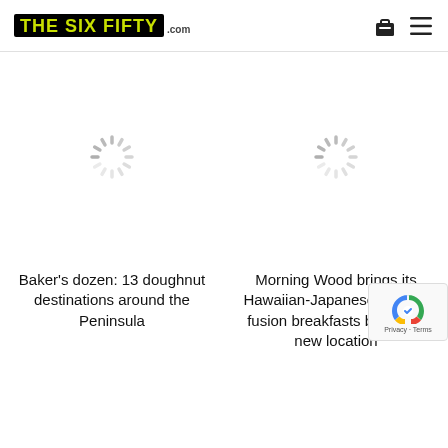THE SIX FIFTY .com
[Figure (illustration): Loading spinner (circular dashed loader icon) for left article card]
[Figure (illustration): Loading spinner (circular dashed loader icon) for right article card]
Baker's dozen: 13 doughnut destinations around the Peninsula
Morning Wood brings its Hawaiian-Japanese-Korean fusion breakfasts back in a new location
[Figure (illustration): reCAPTCHA badge with Privacy and Terms text]